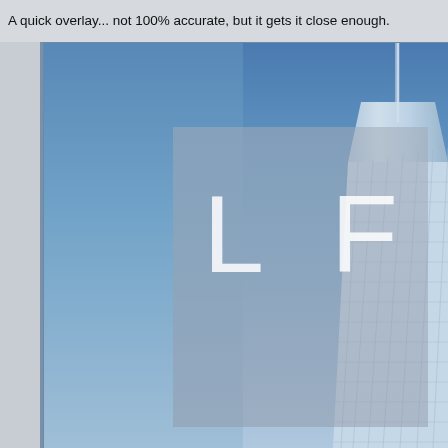A quick overlay... not 100% accurate, but it gets it close enough.
[Figure (photo): Photograph of a modern glass skyscraper tower against a blue sky, with a semi-transparent grey overlay rectangle in the upper-center portion of the image showing the letters 'L F' in white. The building has a distinctive tapered form with a spire at the top. The overlay appears to be a watermark or logo overlay demonstration.]